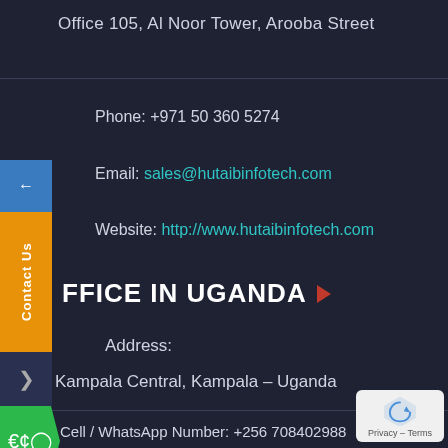Office 105, Al Noor Tower, Arooba Street
Phone: +971 50 360 5274
Email: sales@hutaibinfotech.com
Website: http://www.hutaibinfotech.com
FFICE IN UGANDA
Address:
Kampala Central, Kampala – Uganda
Cell / WhatsApp Number: +256 708402988